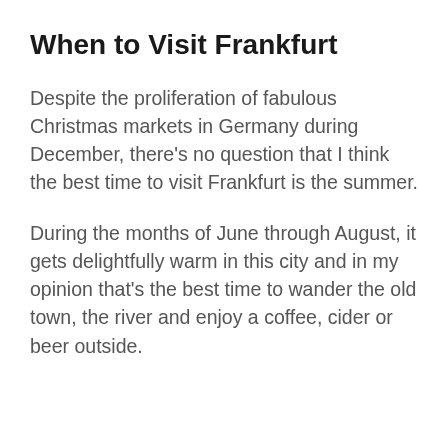When to Visit Frankfurt
Despite the proliferation of fabulous Christmas markets in Germany during December, there’s no question that I think the best time to visit Frankfurt is the summer.
During the months of June through August, it gets delightfully warm in this city and in my opinion that’s the best time to wander the old town, the river and enjoy a coffee, cider or beer outside.